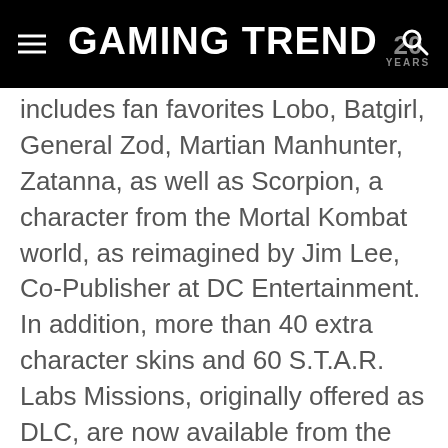GAMING TREND 20 YEARS
includes fan favorites Lobo, Batgirl, General Zod, Martian Manhunter, Zatanna, as well as Scorpion, a character from the Mortal Kombat world, as reimagined by Jim Lee, Co-Publisher at DC Entertainment.  In addition, more than 40 extra character skins and 60 S.T.A.R. Labs Missions, originally offered as DLC, are now available from the start of the game. Also packaged with the Americas version of the game will be its music soundtrack featuring an exclusive track from Jane's Addiction titled “Another Soulmate” and 11 songs from popular artists ranging from Depeche Mode to